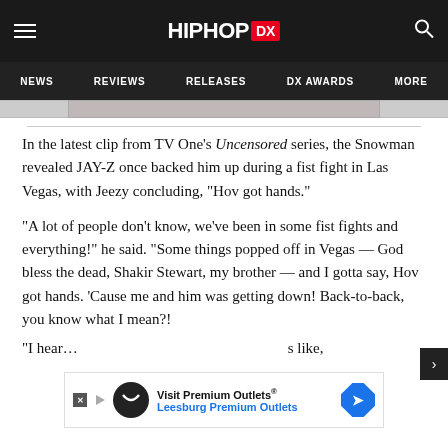HIPHOP DX
NEWS  REVIEWS  RELEASES  DX AWARDS  MORE
[Figure (photo): Partial image strip at top of article]
In the latest clip from TV One's Uncensored series, the Snowman revealed JAY-Z once backed him up during a fist fight in Las Vegas, with Jeezy concluding, “Hov got hands.”
“A lot of people don’t know, we’ve been in some fist fights and everything!” he said. “Some things popped off in Vegas — God bless the dead, Shakir Stewart, my brother — and I gotta say, Hov got hands. ‘Cause me and him was getting down! Back-to-back, you know what I mean?!
“I hear…                                                                            s like,
[Figure (other): Advertisement overlay: Visit Premium Outlets® Leesburg Premium Outlets]